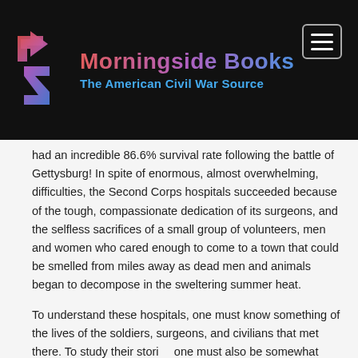Morningside Books — The American Civil War Source
had an incredible 86.6% survival rate following the battle of Gettysburg! In spite of enormous, almost overwhelming, difficulties, the Second Corps hospitals succeeded because of the tough, compassionate dedication of its surgeons, and the selfless sacrifices of a small group of volunteers, men and women who cared enough to come to a town that could be smelled from miles away as dead men and animals began to decompose in the sweltering summer heat.
To understand these hospitals, one must know something of the lives of the soldiers, surgeons, and civilians that met there. To study their stories one must also be somewhat familiar with the